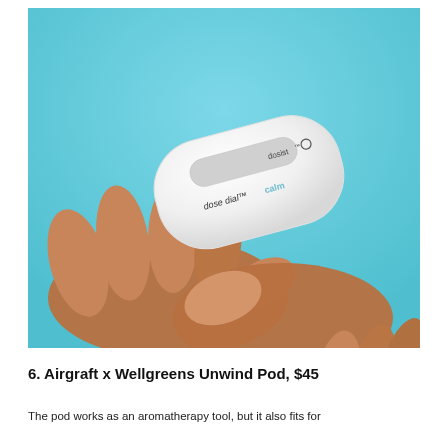[Figure (photo): Two hands holding a white oval-shaped device labeled 'dose dial calm' and 'dosist' against a light blue background]
6. Airgraft x Wellgreens Unwind Pod, $45
The pod works as an aromatherapy tool, but it also fits for...